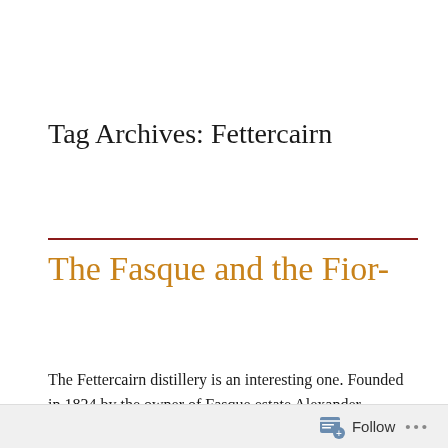Tag Archives: Fettercairn
The Fasque and the Fior-ious
The Fettercairn distillery is an interesting one. Founded in 1824 by the owner of Fasque estate Alexander Ramsey,
Follow ...